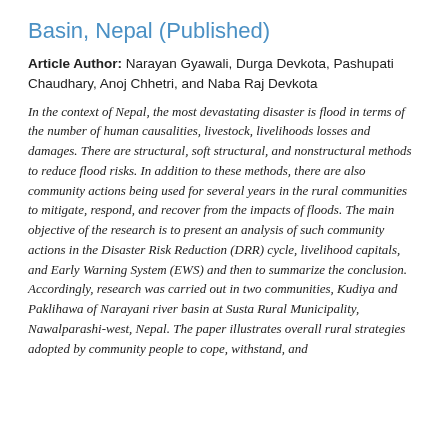Basin, Nepal (Published)
Article Author: Narayan Gyawali, Durga Devkota, Pashupati Chaudhary, Anoj Chhetri, and Naba Raj Devkota
In the context of Nepal, the most devastating disaster is flood in terms of the number of human causalities, livestock, livelihoods losses and damages. There are structural, soft structural, and nonstructural methods to reduce flood risks. In addition to these methods, there are also community actions being used for several years in the rural communities to mitigate, respond, and recover from the impacts of floods. The main objective of the research is to present an analysis of such community actions in the Disaster Risk Reduction (DRR) cycle, livelihood capitals, and Early Warning System (EWS) and then to summarize the conclusion.  Accordingly, research was carried out in two communities, Kudiya and Paklihawa of Narayani river basin at Susta Rural Municipality, Nawalparashi-west, Nepal. The paper illustrates overall rural strategies adopted by community people to cope, withstand, and